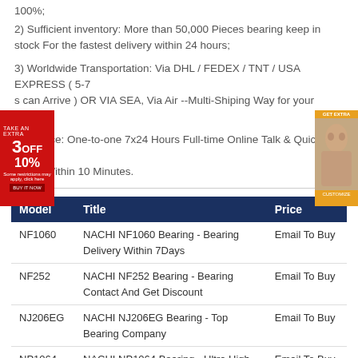100%;
2) Sufficient inventory: More than 50,000 Pieces bearing keep in stock For the fastest delivery within 24 hours;
3) Worldwide Transportation: Via DHL / FEDEX / TNT / USA EXPRESS ( 5-7 s can Arrive ) OR VIA SEA, Via Air --Multi-Shiping Way for your choice;
4) service: One-to-one 7x24 Hours Full-time Online Talk & Quick Inquiry Reply Within 10 Minutes.
| Model | Title | Price |
| --- | --- | --- |
| NF1060 | NACHI NF1060 Bearing - Bearing Delivery Within 7Days | Email To Buy |
| NF252 | NACHI NF252 Bearing - Bearing Contact And Get Discount | Email To Buy |
| NJ206EG | NACHI NJ206EG Bearing - Top Bearing Company | Email To Buy |
| NP1064 | NACHI NP1064 Bearing - Ultra High Standard Bearing | Email To Buy |
| NF248 | NACHI NF248 Bearing - Bearing | Email To Buy |